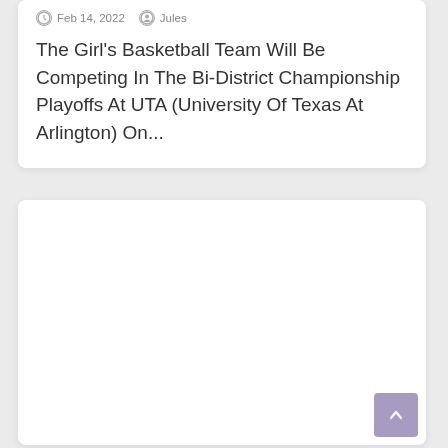Feb 14, 2022   Jules
The Girl's Basketball Team Will Be Competing In The Bi-District Championship Playoffs At UTA (University Of Texas At Arlington) On...
[Figure (other): Empty white card/panel below the article card]